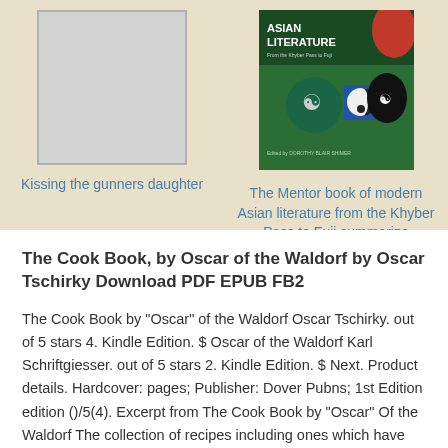[Figure (illustration): Placeholder book cover (light gray rectangle with border) for 'Kissing the gunners daughter']
Kissing the gunners daughter
[Figure (illustration): Book cover for 'The Mentor book of modern Asian literature from the Khyber Pass to Fuji summarize' — green cover with Asian symbols including yin-yang and triskelion]
The Mentor book of modern Asian literature from the Khyber Pass to Fuji summarize
The Cook Book, by Oscar of the Waldorf by Oscar Tschirky Download PDF EPUB FB2
The Cook Book by "Oscar" of the Waldorf Oscar Tschirky. out of 5 stars 4. Kindle Edition. $ Oscar of the Waldorf Karl Schriftgiesser. out of 5 stars 2. Kindle Edition. $ Next. Product details. Hardcover: pages; Publisher: Dover Pubns; 1st Edition edition ()/5(4). Excerpt from The Cook Book by "Oscar" Of the Waldorf The collection of recipes including ones which have charmed, etc.